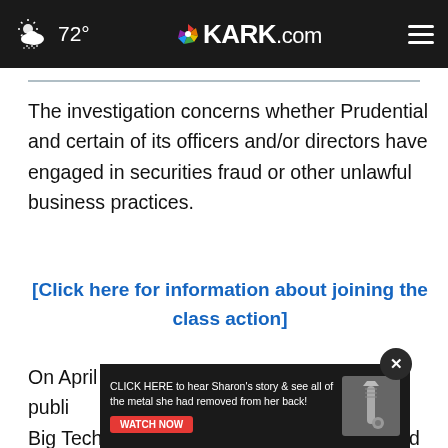72° KARK.com
The investigation concerns whether Prudential and certain of its officers and/or directors have engaged in securities fraud or other unlawful business practices.
[Click here for information about joining the class action]
On April 29, 2022, the Wall Street Journal published ... ial's Big Tech Bet Went Sour. The article reported